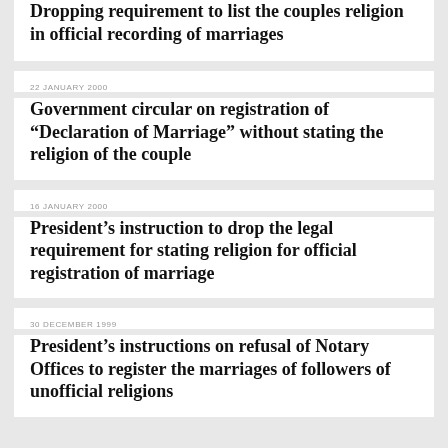Dropping requirement to list the couples religion in official recording of marriages
22 JANUARY 2000
Government circular on registration of “Declaration of Marriage” without stating the religion of the couple
16 JANUARY 2000
President’s instruction to drop the legal requirement for stating religion for official registration of marriage
30 DECEMBER 1999
President’s instructions on refusal of Notary Offices to register the marriages of followers of unofficial religions